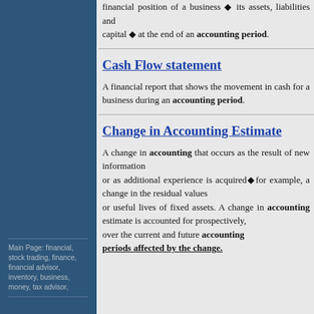financial position of a business ◆ its assets, liabilities and capital ◆ at the end of an accounting period.
Cash Flow statement
A financial report that shows the movement in cash for a business during an accounting period.
Change in Accounting Estimate
A change in accounting that occurs as the result of new information or as additional experience is acquired◆for example, a change in the residual values or useful lives of fixed assets. A change in accounting estimate is accounted for prospectively, over the current and future accounting periods affected by the change.
Main Page: financial, stock trading, finance, financial advisor, inventory, business, money, tax advisor,